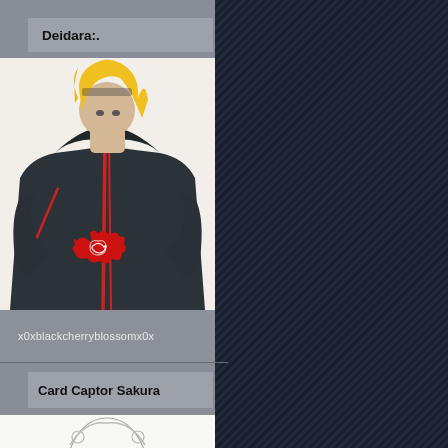Deidara:.
[Figure (illustration): Hand-drawn illustration of Deidara from Naruto, a character with blonde hair wearing a dark Akatsuki cloak with red cloud symbol and red trim]
x0xblackcherryblossomx0x
Card Captor Sakura
[Figure (illustration): Hand-drawn pencil sketch of an anime character (Card Captor Sakura), showing a girl's face with large eyes and decorative hair accessories]